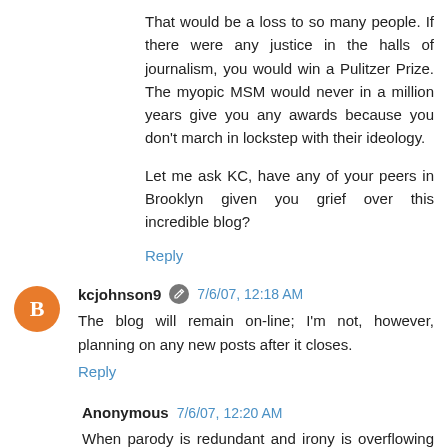That would be a loss to so many people. If there were any justice in the halls of journalism, you would win a Pulitzer Prize. The myopic MSM would never in a million years give you any awards because you don't march in lockstep with their ideology.
Let me ask KC, have any of your peers in Brooklyn given you grief over this incredible blog?
Reply
kcjohnson9  7/6/07, 12:18 AM
The blog will remain on-line; I'm not, however, planning on any new posts after it closes.
Reply
Anonymous  7/6/07, 12:20 AM
When parody is redundant and irony is overflowing you know you must be in womens-studys-land.